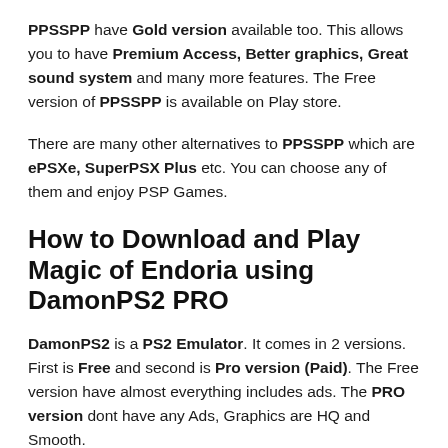PPSSPP have Gold version available too. This allows you to have Premium Access, Better graphics, Great sound system and many more features. The Free version of PPSSPP is available on Play store.
There are many other alternatives to PPSSPP which are ePSXe, SuperPSX Plus etc. You can choose any of them and enjoy PSP Games.
How to Download and Play Magic of Endoria using DamonPS2 PRO
DamonPS2 is a PS2 Emulator. It comes in 2 versions. First is Free and second is Pro version (Paid). The Free version have almost everything includes ads. The PRO version dont have any Ads, Graphics are HQ and Smooth.